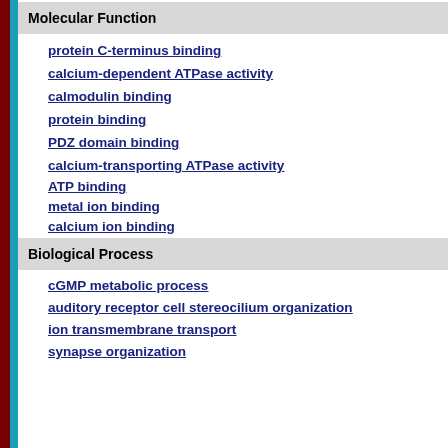Molecular Function
protein C-terminus binding
calcium-dependent ATPase activity
calmodulin binding
protein binding
PDZ domain binding
calcium-transporting ATPase activity
ATP binding
metal ion binding
calcium ion binding
Biological Process
cGMP metabolic process
auditory receptor cell stereocilium organization
ion transmembrane transport
synapse organization